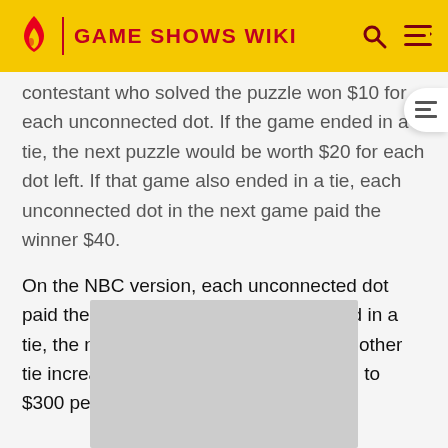GAME SHOWS WIKI
contestant who solved the puzzle won $10 for each unconnected dot. If the game ended in a tie, the next puzzle would be worth $20 for each dot left. If that game also ended in a tie, each unconnected dot in the next game paid the winner $40.
On the NBC version, each unconnected dot paid the winner $100. If the game ended in a tie, the next game paid $200 per dot. Another tie increased the value of the next game to $300 per dot.
[Figure (other): Gray placeholder image/advertisement area]